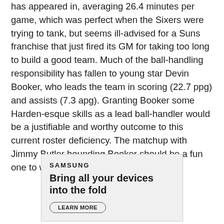has appeared in, averaging 26.4 minutes per game, which was perfect when the Sixers were trying to tank, but seems ill-advised for a Suns franchise that just fired its GM for taking too long to build a good team. Much of the ball-handling responsibility has fallen to young star Devin Booker, who leads the team in scoring (22.7 ppg) and assists (7.3 apg). Granting Booker some Harden-esque skills as a lead ball-handler would be a justifiable and worthy outcome to this current roster deficiency. The matchup with Jimmy Butler hounding Booker should be a fun one to watch tonight.
[Figure (other): Samsung advertisement box with logo, tagline 'Bring all your devices into the fold', and a LEARN MORE button]